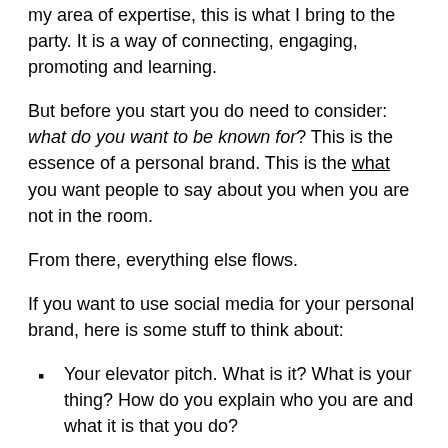a way for you to say this is what I know about, this is what my area of expertise, this is what I bring to the party. It is a way of connecting, engaging, promoting and learning.
But before you start you do need to consider: what do you want to be known for? This is the essence of a personal brand. This is the what you want people to say about you when you are not in the room.
From there, everything else flows.
If you want to use social media for your personal brand, here is some stuff to think about:
Your elevator pitch. What is it? What is your thing? How do you explain who you are and what it is that you do?
Your image. This is partly about your actual image –